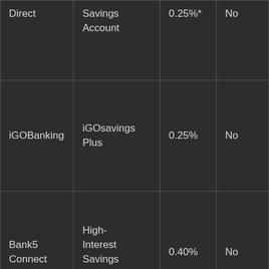| Direct | Savings Account | 0.25%* | No |
| iGOBanking | iGOsavings Plus | 0.25% | No |
| Bank5 Connect | High-Interest Savings Account | 0.40% | No |